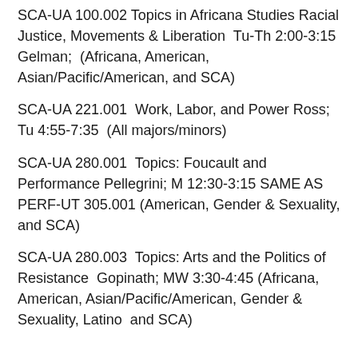SCA-UA 100.002  Topics in Africana Studies  Racial Justice, Movements & Liberation  Tu-Th 2:00-3:15 Gelman;  (Africana, American, Asian/Pacific/American, and SCA)
SCA-UA 221.001  Work, Labor, and Power Ross; Tu 4:55-7:35  (All majors/minors)
SCA-UA 280.001  Topics: Foucault and Performance Pellegrini; M 12:30-3:15 SAME AS PERF-UT 305.001 (American, Gender & Sexuality, and SCA)
SCA-UA 280.003  Topics: Arts and the Politics of Resistance  Gopinath; MW 3:30-4:45 (Africana, American, Asian/Pacific/American, Gender & Sexuality, Latino  and SCA)